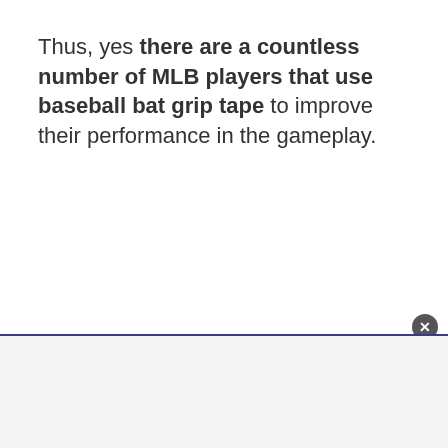Thus, yes there are a countless number of MLB players that use baseball bat grip tape to improve their performance in the gameplay.